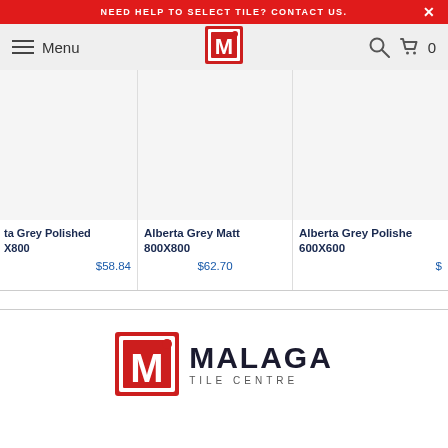NEED HELP TO SELECT TILE? CONTACT US.
[Figure (screenshot): Navigation bar with hamburger menu, Menu text, Malaga M logo icon, search icon, cart icon with 0 count]
[Figure (screenshot): Product listing row showing Alberta Grey Polished 800x800, Alberta Grey Matt 800X800 at $58.84, Alberta Grey Polished 600X600 at $62.70, and partial fourth product]
[Figure (logo): Malaga Tile Centre logo with red M icon and MALAGA TILE CENTRE text]